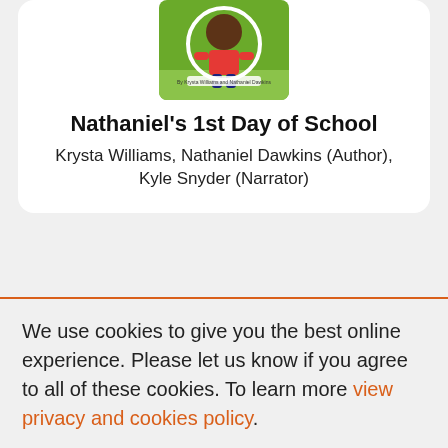[Figure (illustration): Book cover of Nathaniel's 1st Day of School showing a cartoon child in a red shirt on a green background]
Nathaniel's 1st Day of School
Krysta Williams, Nathaniel Dawkins (Author), Kyle Snyder (Narrator)
We use cookies to give you the best online experience. Please let us know if you agree to all of these cookies. To learn more view privacy and cookies policy.